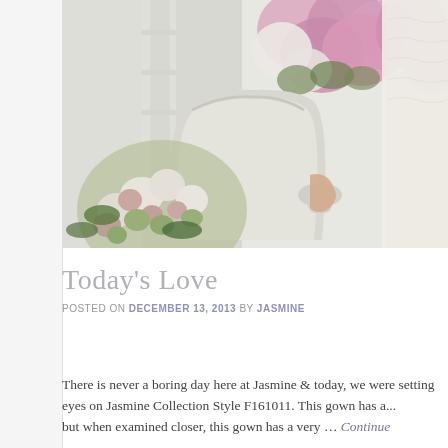[Figure (photo): Wedding/bridal styled photo featuring a woman in a white lace gown standing behind an ornate white chair or sofa, surrounded by large floral arrangements with pink hydrangeas at the top and green/white mixed flowers at the bottom left.]
Today's Love
POSTED ON DECEMBER 13, 2013 BY JASMINE
There is never a boring day here at Jasmine & today, we were setting eyes on Jasmine Collection Style F161011. This gown has a... but when examined closer, this gown has a very … Continue